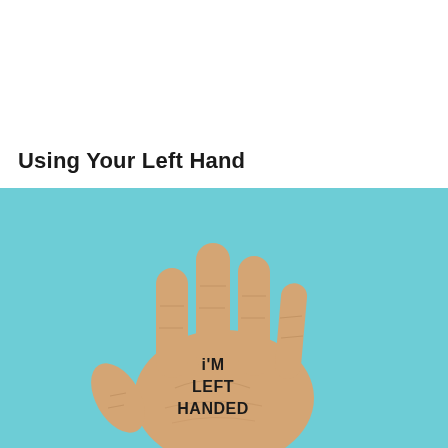Using Your Left Hand
[Figure (photo): A left hand held up with palm facing the viewer against a light teal/turquoise background. The palm has text written on it reading 'i'm LEFT HANDED' in bold black letters.]